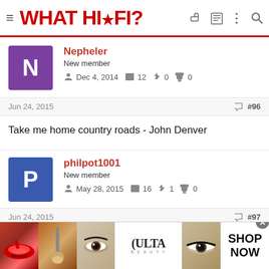WHAT HI·FI?
Nepheler
New member
Dec 4, 2014  12  0  0
Jun 24, 2015  #96
Take me home country roads - John Denver
philpot1001
New member
May 28, 2015  16  1  0
Jun 24, 2015  #97
[Figure (photo): Ulta Beauty advertisement banner with makeup images]